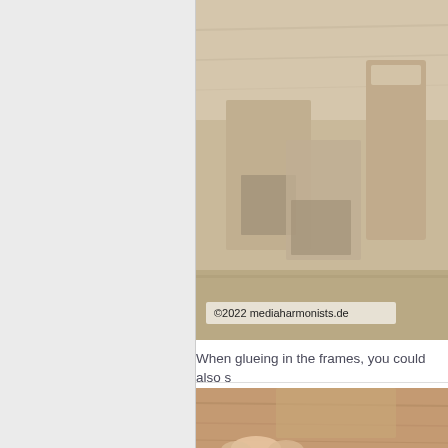[Figure (photo): Close-up photo of wooden blocks or frames arranged together on a wooden surface, showing joinery construction. Copyright watermark reads '©2022 mediaharmonists.de']
When glueing in the frames, you could also s
[Figure (photo): Partial photo showing wooden piece being worked on, with a hand visible at the bottom edge]